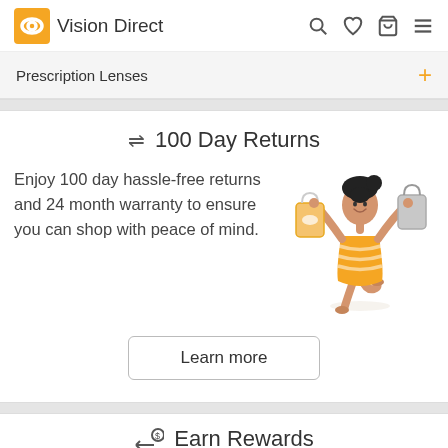Vision Direct
Prescription Lenses
100 Day Returns
Enjoy 100 day hassle-free returns and 24 month warranty to ensure you can shop with peace of mind.
[Figure (illustration): Cartoon illustration of a happy woman in an orange striped dress holding shopping bags in both raised hands, one leg lifted, on a white background.]
Learn more
Earn Rewards